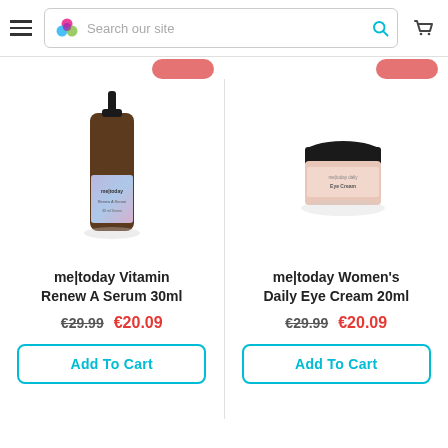Search our site
[Figure (photo): me|today Vitamin Renew A Serum 30ml product bottle - dark amber glass bottle with pump dispenser and holographic label]
me|today Vitamin Renew A Serum 30ml
€29.99  €20.09
Add To Cart
[Figure (photo): me|today Women's Daily Eye Cream 20ml product - dark lidded glass jar with pink label]
me|today Women's Daily Eye Cream 20ml
€29.99  €20.09
Add To Cart